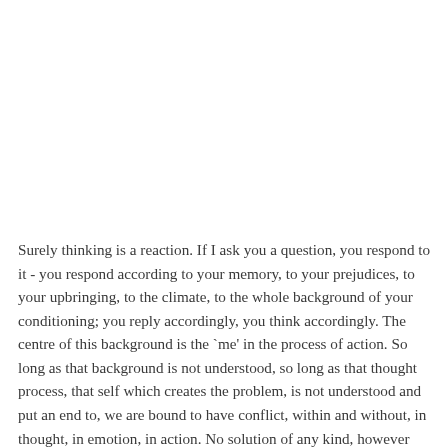Surely thinking is a reaction. If I ask you a question, you respond to it - you respond according to your memory, to your prejudices, to your upbringing, to the climate, to the whole background of your conditioning; you reply accordingly, you think accordingly. The centre of this background is the `me' in the process of action. So long as that background is not understood, so long as that thought process, that self which creates the problem, is not understood and put an end to, we are bound to have conflict, within and without, in thought, in emotion, in action. No solution of any kind, however clever, however well thought out, can ever put an end to the conflict between man and man, between you and me. Realizing this, being aware of how thought springs up and from what source, then we ask, "Can thought ever come to an end?"